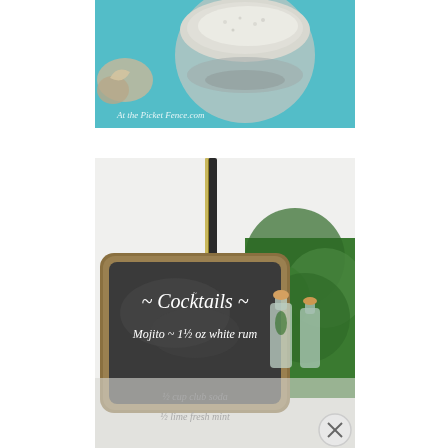[Figure (photo): Top photo: close-up of a decorative bowl or dish filled with white sand or salt on a turquoise blue surface, with seashells visible on the left side. Watermark reads 'At the Picket Fence.com' in white script at the bottom left.]
[Figure (photo): Bottom photo: A chalkboard sign on an easel outdoors, framed in a dark wood/gold frame, with handwritten chalk text reading '~ Cocktails ~' and below 'Mojito ~ 1½ oz white rum'. Below that partially visible text reads '1/2 cup club soda' and '1/2 lime fresh mint'. To the right of the chalkboard are glass bottles with cork stoppers on a reflective surface, with green foliage in the background. A circular close button (X) appears at bottom right of the page.]